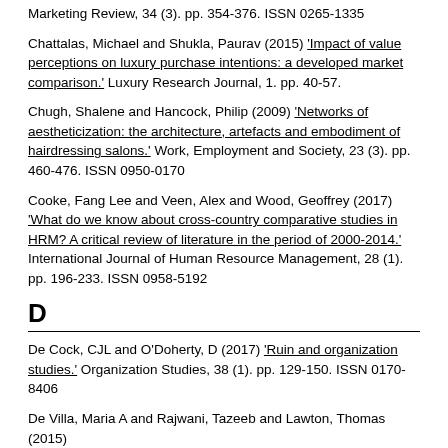Marketing Review, 34 (3). pp. 354-376. ISSN 0265-1335
Chattalas, Michael and Shukla, Paurav (2015) 'Impact of value perceptions on luxury purchase intentions: a developed market comparison.' Luxury Research Journal, 1. pp. 40-57.
Chugh, Shalene and Hancock, Philip (2009) 'Networks of aestheticization: the architecture, artefacts and embodiment of hairdressing salons.' Work, Employment and Society, 23 (3). pp. 460-476. ISSN 0950-0170
Cooke, Fang Lee and Veen, Alex and Wood, Geoffrey (2017) 'What do we know about cross-country comparative studies in HRM? A critical review of literature in the period of 2000-2014.' International Journal of Human Resource Management, 28 (1). pp. 196-233. ISSN 0958-5192
D
De Cock, CJL and O'Doherty, D (2017) 'Ruin and organization studies.' Organization Studies, 38 (1). pp. 129-150. ISSN 0170-8406
De Villa, Maria A and Rajwani, Tazeeb and Lawton, Thomas (2015) 'Market entry modes in a multipolar world: Untangling the moderating